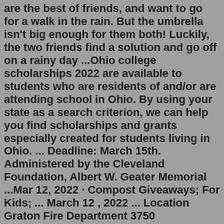are the best of friends, and want to go for a walk in the rain. But the umbrella isn't big enough for them both! Luckily, the two friends find a solution and go off on a rainy day ...Ohio college scholarships 2022 are available to students who are residents of and/or are attending school in Ohio. By using your state as a search criterion, we can help you find scholarships and grants especially created for students living in Ohio. ... Deadline: March 15th. Administered by the Cleveland Foundation, Albert W. Geater Memorial ...Mar 12, 2022 · Compost Giveaways; For Kids; ... March 12 , 2022 ... Location Graton Fire Department 3750 Gravenstein Hwy N Sebastopol, CA 95472 Email ... Some casinos are sticking to festivities. Thunder Valley, near Sacramento, promotes "2021 Celebration Giveaway" drawings Friday and Saturday, with $8,000 grand prizes. Viejas Casino & Resort ...October 27, 2021 - Blackhawks Día de los Muertos/Sugar Skull Bobblehead January 13, 2022 - Andrew Shaw Legacy Night; giveaway TBA January 31, 2022 - Brent Seabrook Legacy Night; giveaway